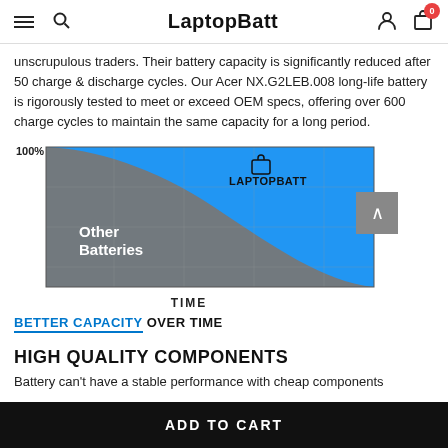LaptopBatt
unscrupulous traders. Their battery capacity is significantly reduced after 50 charge & discharge cycles. Our Acer NX.G2LEB.008 long-life battery is rigorously tested to meet or exceed OEM specs, offering over 600 charge cycles to maintain the same capacity for a long period.
[Figure (continuous-plot): Area chart showing battery capacity over time. Blue area (LaptopBatt) remains high and flat, while gray area (Other Batteries) curves steeply down. Y-axis labeled CAPACITY with 100% at top. X-axis labeled TIME. LaptopBatt logo and text shown in upper-right of chart area.]
BETTER CAPACITY OVER TIME
HIGH QUALITY COMPONENTS
Battery can't have a stable performance with cheap components